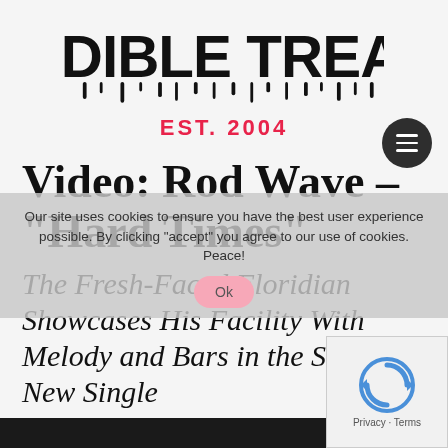AUDIBLE TREATS EST. 2004
Video: Rod Wave – "Hard Times"
The Fresh-Faced Floridian Showcases His Facility With Melody and Bars in the Soulful New Single
Our site uses cookies to ensure you have the best user experience possible. By clicking "accept" you agree to our use of cookies. Peace!
Ok